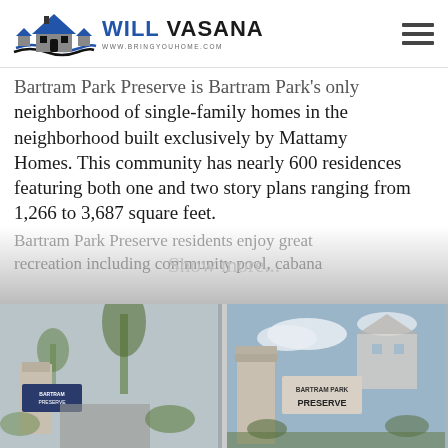Will Vasana www.bringyouhome.com
Bartram Park Preserve is Bartram Park's only neighborhood of single-family homes in the neighborhood built exclusively by Mattamy Homes. This community has nearly 600 residences featuring both one and two story plans ranging from 1,266 to 3,687 square feet.
Show more...
Bartram Park Preserve residents enjoy great recreation including community pool, cabana
[Figure (photo): Entrance sign for Bartram Park Preserve with stone pillars and landscaping]
[Figure (photo): Bartram Park Preserve entrance sign on stone pillar with blue sky background]